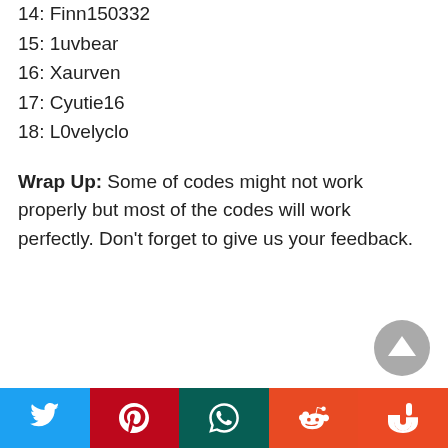14: Finn150332
15: 1uvbear
16: Xaurven
17: Cyutie16
18: L0velyclo
Wrap Up: Some of codes might not work properly but most of the codes will work perfectly. Don't forget to give us your feedback.
[Figure (other): Scroll to top button — circular grey arrow-up button]
Social share bar with Twitter, Pinterest, WhatsApp, Reddit, StumbleUpon icons